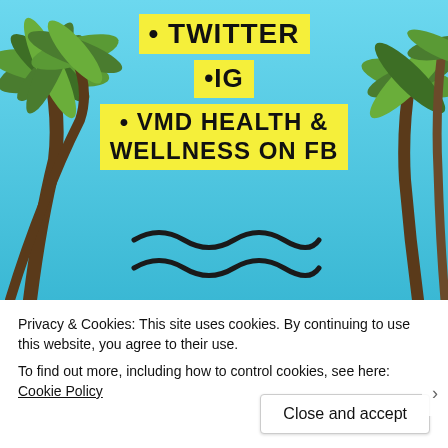[Figure (photo): Background photo of palm trees against a blue sky with yellow highlighted text overlay listing social media bullet points: TWITTER, IG, VMD HEALTH & WELLNESS ON FB, plus wave decorations]
• TWITTER
•IG
• VMD HEALTH & WELLNESS ON FB
Privacy & Cookies: This site uses cookies. By continuing to use this website, you agree to their use.
To find out more, including how to control cookies, see here: Cookie Policy
Close and accept